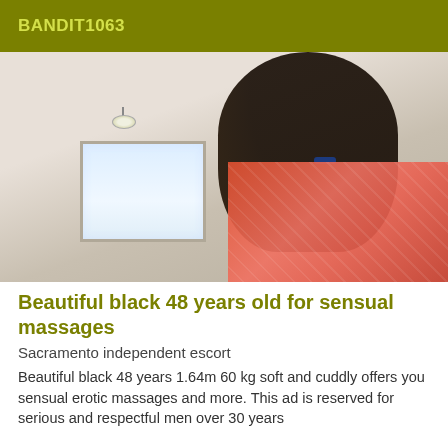BANDIT1063
[Figure (photo): Interior room photo showing a person viewed from above, with a window and red/pink bedding visible]
Beautiful black 48 years old for sensual massages
Sacramento independent escort
Beautiful black 48 years 1.64m 60 kg soft and cuddly offers you sensual erotic massages and more. This ad is reserved for serious and respectful men over 30 years